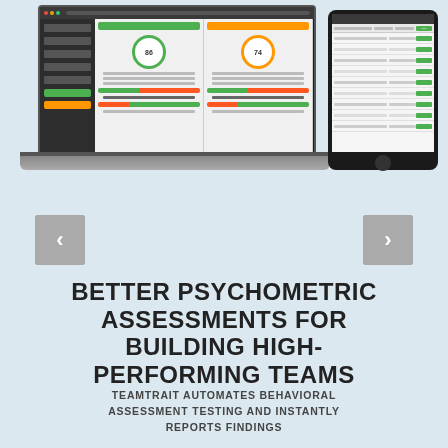[Figure (screenshot): Screenshot of TeamTrait psychometric assessment software shown on a laptop and tablet device mockup. The laptop shows a dashboard with green and orange assessment panels, score circles showing 86 and 74, colored bar indicators for behavioral traits. The tablet shows a tabular list view of assessments.]
BETTER PSYCHOMETRIC ASSESSMENTS FOR BUILDING HIGH-PERFORMING TEAMS
TEAMTRAIT AUTOMATES BEHAVIORAL ASSESSMENT TESTING AND INSTANTLY REPORTS FINDINGS